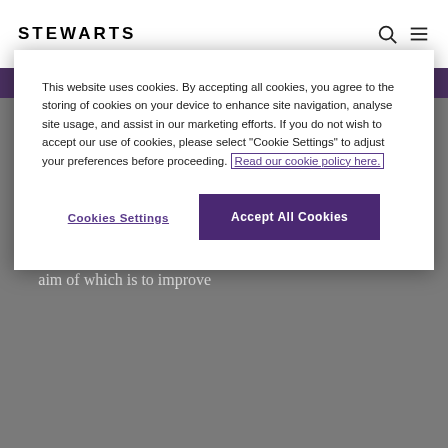STEWARTS
This website uses cookies. By accepting all cookies, you agree to the storing of cookies on your device to enhance site navigation, analyse site usage, and assist in our marketing efforts. If you do not wish to accept our use of cookies, please select "Cookie Settings" to adjust your preferences before proceeding. Read our cookie policy here.
Cookies Settings
Accept All Cookies
Examples of our pro bono advice include:
We provide extensive pro bono legal support to those with serious and life-changing injuries through The Legal Service
We are sponsors of The Access to Justice Foundation, the aim of which is to improve